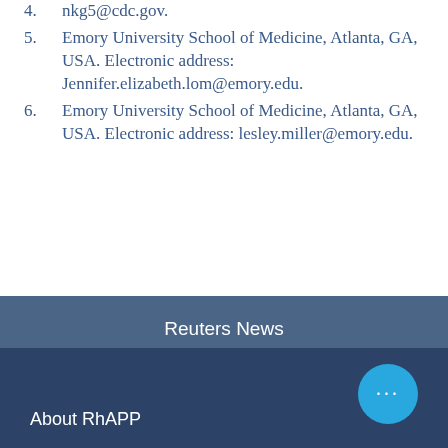nkg5@cdc.gov.
5. Emory University School of Medicine, Atlanta, GA, USA. Electronic address: Jennifer.elizabeth.lom@emory.edu.
6. Emory University School of Medicine, Atlanta, GA, USA. Electronic address: lesley.miller@emory.edu.
Reuters News
Abstract Library
Community Forum
About RhAPP